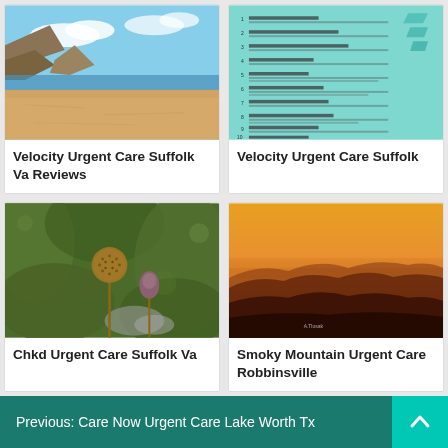[Figure (photo): Sandy beach with rocky cliffs and blue sky]
Velocity Urgent Care Suffolk Va Reviews
[Figure (photo): Teal/turquoise document with numbered list items]
Velocity Urgent Care Suffolk
[Figure (photo): Dried seed pods on green foliage background]
Chkd Urgent Care Suffolk Va
[Figure (photo): Orange sunset over Smoky Mountain ridgelines]
Smoky Mountain Urgent Care Robbinsville
Previous: Care Now Urgent Care Lake Worth Tx